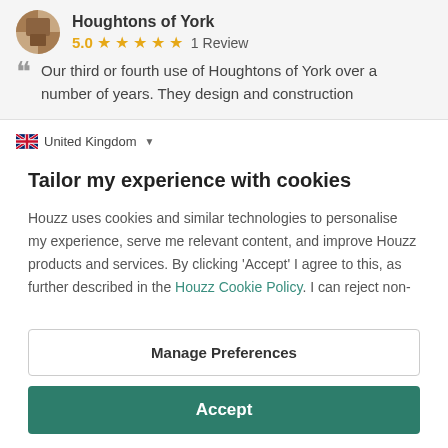Houghtons of York — 5.0 ★★★★★ 1 Review
Our third or fourth use of Houghtons of York over a number of years. They design and construction
United Kingdom
Tailor my experience with cookies
Houzz uses cookies and similar technologies to personalise my experience, serve me relevant content, and improve Houzz products and services. By clicking 'Accept' I agree to this, as further described in the Houzz Cookie Policy. I can reject non-
Manage Preferences
Accept